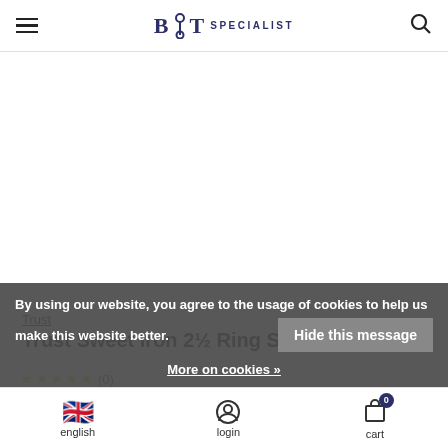BIT SPECIALIST
[Figure (photo): Product image area - white blank space for Trust Sweet Iron 2½ Ring Single Jointed bit]
Trust
Trust Sweet Iron 2½ Ring Single Jointed
☆☆☆☆☆ (0)
€99,99
Incl. tax
By using our website, you agree to the usage of cookies to help us make this website better. Hide this message More on cookies »
english  login  cart 0